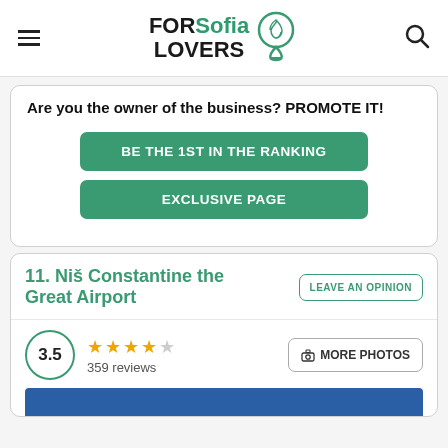FOR Sofia LOVERS
Are you the owner of the business? PROMOTE IT!
BE THE 1ST IN THE RANKING
EXCLUSIVE PAGE
11. Niš Constantine the Great Airport
LEAVE AN OPINION
3.5
359 reviews
MORE PHOTOS